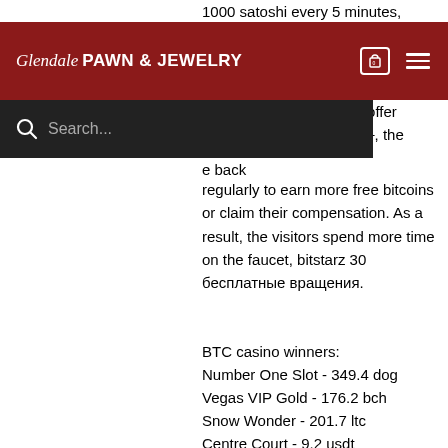1000 satoshi every 5 minutes, bitstarz casino
[Figure (screenshot): Glendale Pawn & Jewelry website header navigation bar with dark red background, logo, cart icon, and hamburger menu]
[Figure (screenshot): Website search bar with dark background and search icon and placeholder text 'Search...']
e you tasks to finish and offer rewards as you will ... the ... e back regularly to earn more free bitcoins or claim their compensation. As a result, the visitors spend more time on the faucet, bitstarz 30 бесплатные вращения.
BTC casino winners:
Number One Slot - 349.4 dog
Vegas VIP Gold - 176.2 bch
Snow Wonder - 201.7 ltc
Centre Court - 9.2 usdt
In The Forest - 38.4 bch
Divine Fortune - 696.8 btc
7 wonders - 501.6 bch
World Tour - 121.2 ltc
Book of Tattoo - 669.6 eth